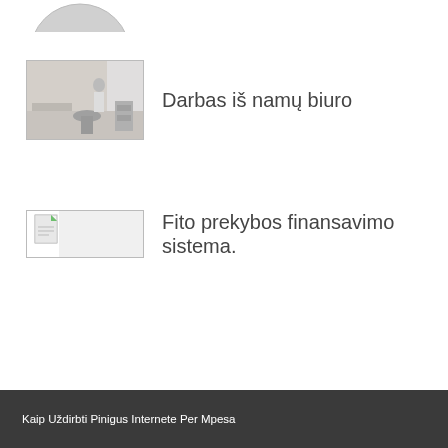[Figure (photo): Partial circle/avatar cropped at top of page]
[Figure (photo): Photo of a home office with a person standing near a desk and shelves]
Darbas iš namų biuro
[Figure (screenshot): Small document/file icon thumbnail]
Fito prekybos finansavimo sistema.
Kaip Uždirbti Pinigus Internete Per Mpesa